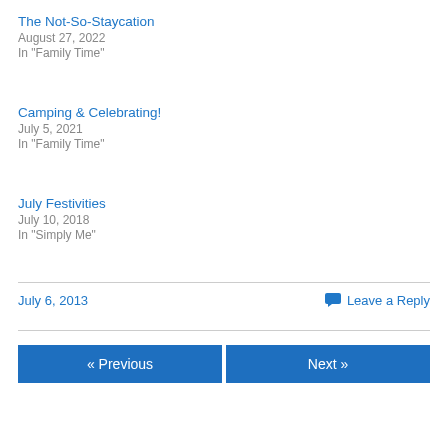The Not-So-Staycation
August 27, 2022
In "Family Time"
Camping & Celebrating!
July 5, 2021
In "Family Time"
July Festivities
July 10, 2018
In "Simply Me"
July 6, 2013
Leave a Reply
« Previous
Next »